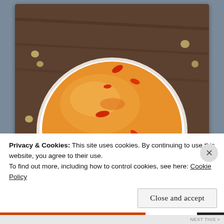[Figure (photo): Top-down photo of a white bowl filled with orange roasted red pepper hummus, garnished with red pepper flakes and spices, on a wooden surface with a red patterned cloth/placemat. Text overlay reads 'Roasted Red Pepper Hummus' in white italic script at the bottom of the image.]
Privacy & Cookies: This site uses cookies. By continuing to use this website, you agree to their use.
To find out more, including how to control cookies, see here: Cookie Policy
Close and accept